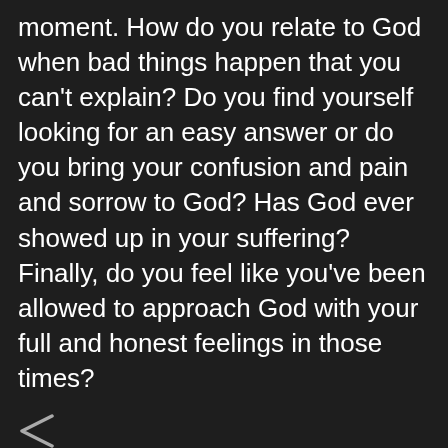moment. How do you relate to God when bad things happen that you can't explain? Do you find yourself looking for an easy answer or do you bring your confusion and pain and sorrow to God? Has God ever showed up in your suffering? Finally, do you feel like you've been allowed to approach God with your full and honest feelings in those times?
[Figure (other): Share icon (less-than symbol style share button)]
Tami July 18, 2020 at 4:08 PM — Whenever bad happens, I admit my